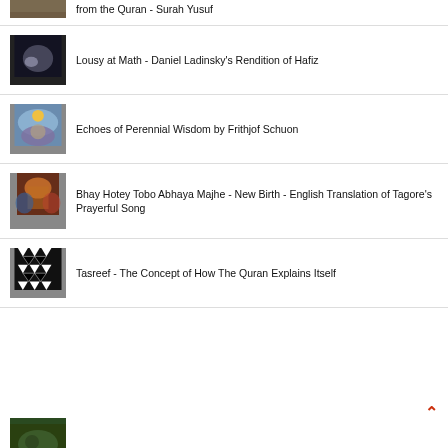from the Quran - Surah Yusuf
Lousy at Math - Daniel Ladinsky's Rendition of Hafiz
Echoes of Perennial Wisdom by Frithjof Schuon
Bhay Hotey Tobo Abhaya Majhe - New Birth - English Translation of Tagore's Prayerful Song
Tasreef - The Concept of How The Quran Explains Itself
(partial item at bottom)